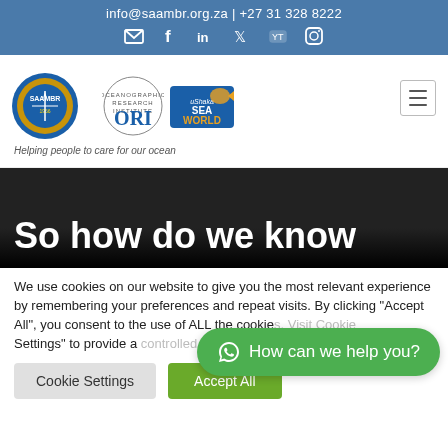info@saambr.org.za | +27 31 328 8222
[Figure (logo): SAAMBR logo with ORI and uShaka Sea World logos, tagline: Helping people to care for our ocean]
So how do we know
We use cookies on our website to give you the most relevant experience by remembering your preferences and repeat visits. By clicking "Accept All", you consent to the use of ALL the cookie... Settings" to provide a...
How can we help you?
Cookie Settings | Accept All